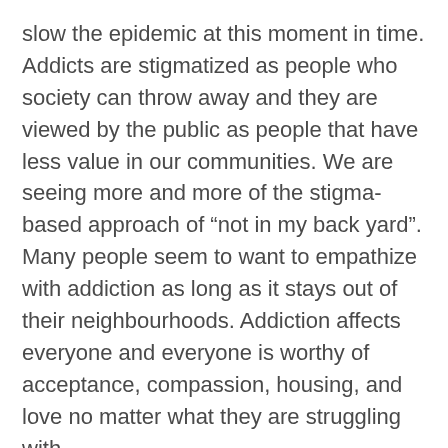slow the epidemic at this moment in time. Addicts are stigmatized as people who society can throw away and they are viewed by the public as people that have less value in our communities. We are seeing more and more of the stigma-based approach of “not in my back yard”. Many people seem to want to empathize with addiction as long as it stays out of their neighbourhoods. Addiction affects everyone and everyone is worthy of acceptance, compassion, housing, and love no matter what they are struggling with.
Addiction is not a disease to fear nor something we should shun people for struggling with. Addiction is a reprieve and a coping mechanism to allow a person an escape temporarily from the suffering